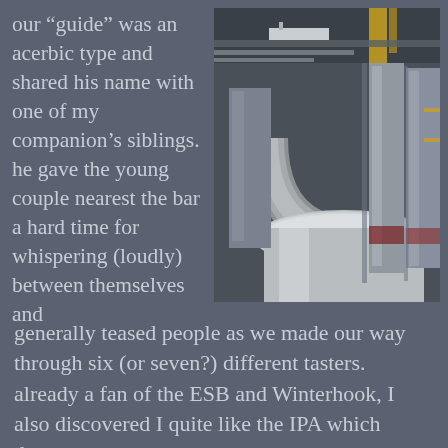our “guide” was an acerbic type and shared his name with one of my companion’s siblings. he gave the young couple nearest the bar a hard time for whispering (loudly) between themselves and
[Figure (photo): Interior of a brewery showing large stainless steel fermentation tanks with pipes and yellow structural elements visible in the ceiling area. The tanks are cylindrical and highly polished.]
generally teased people as we made our way through six (or seven?) different tasters. already a fan of the ESB and Winterhook, I also discovered I quite like the IPA which departs